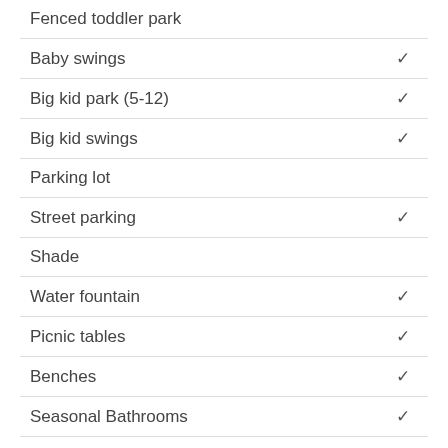| Feature |  |
| --- | --- |
| Fenced toddler park |  |
| Baby swings | ✓ |
| Big kid park (5-12) | ✓ |
| Big kid swings | ✓ |
| Parking lot |  |
| Street parking | ✓ |
| Shade |  |
| Water fountain | ✓ |
| Picnic tables | ✓ |
| Benches | ✓ |
| Seasonal Bathrooms | ✓ |
| Green space | ✓ |
| Soccer fields |  |